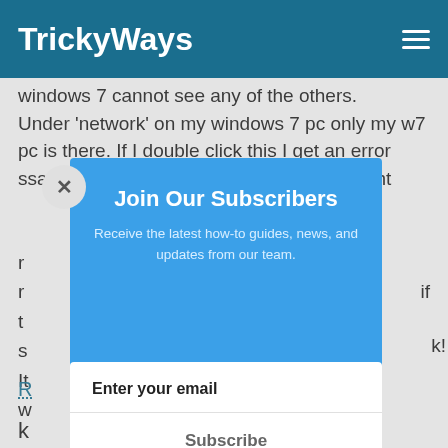TrickyWays
windows 7 cannot see any of the others. Under ‘network’ on my windows 7 pc only my w7 pc is there. If I double click this I get an error message saying ‘it is not accessable, you might not have permission to use this network resource’ if the...
[Figure (screenshot): Subscribe modal overlay with title 'Join Our Subscribers', description text, email input field, and Subscribe button on a blue background]
R
k
R